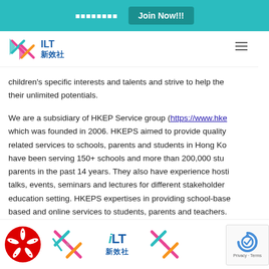■■■■■■■■   Join Now!!!
[Figure (logo): ILT 新效社 logo with colorful X-shape icon]
children's specific interests and talents and strive to help them their unlimited potentials.
We are a subsidiary of HKEP Service group (https://www.hke... which was founded in 2006. HKEPS aimed to provide quality related services to schools, parents and students in Hong Ko... have been serving 150+ schools and more than 200,000 stu... parents in the past 14 years. They also have experience hosti... talks, events, seminars and lectures for different stakeholder... education setting. HKEPS expertises in providing school-base... based and online services to students, parents and teachers.
[Figure (logo): Bottom logos: Hong Kong emblem, ILT 新效社 logo, iLT 新效社 text logo, another ILT logo, reCAPTCHA badge]